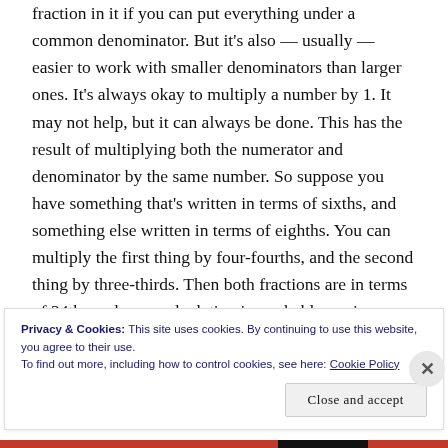fraction in it if you can put everything under a common denominator. But it's also — usually — easier to work with smaller denominators than larger ones. It's always okay to multiply a number by 1. It may not help, but it can always be done. This has the result of multiplying both the numerator and denominator by the same number. So suppose you have something that's written in terms of sixths, and something else written in terms of eighths. You can multiply the first thing by four-fourths, and the second thing by three-thirds. Then both fractions are in terms of 24ths and your calculation is, probably, easier.
Privacy & Cookies: This site uses cookies. By continuing to use this website, you agree to their use.
To find out more, including how to control cookies, see here: Cookie Policy
Close and accept